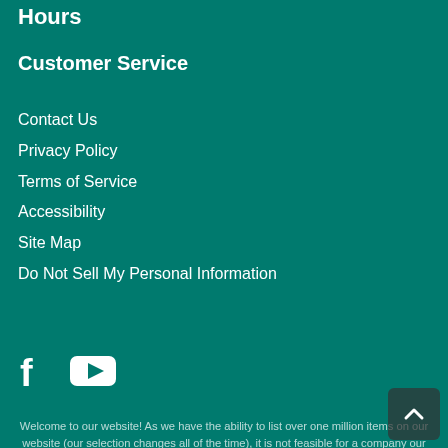Hours
Customer Service
Contact Us
Privacy Policy
Terms of Service
Accessibility
Site Map
Do Not Sell My Personal Information
[Figure (logo): Facebook and YouTube social media icons]
Welcome to our website! As we have the ability to list over one million items on our website (our selection changes all of the time), it is not feasible for a company our size to record and playback the descriptions on every item on our website. However, if you have a disability we are here to help you. Please call our disability services phone line at 323-651-0620 during regular business hours and one of our kind and friendly personal shoppers will help you navigate through our website, help conduct advanced searches, help you choose the item you are looking for with the specifications you are seeking, read you the specifications of any item and consult with you about the products themselves. There is no charge for the help of this personal shopper for anyone with a disability. Finally, your personal shopper will explain our Privacy Policy and Terms of Service, and help you place an order if you so